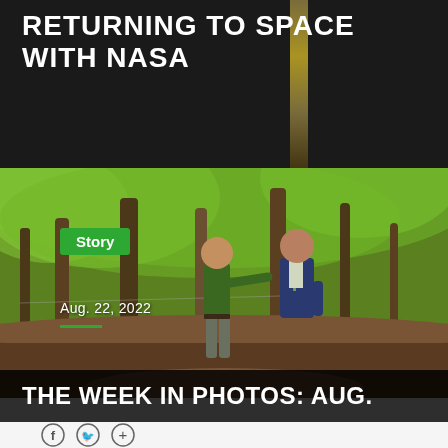RETURNING TO SPACE WITH NASA
[Figure (photo): Two men standing outdoors in a wooded area. One man in a green polo shirt points to the right; the other man in a dark blue suit listens. Trees with green foliage surround them, and a dirt path is visible.]
Story
Aug. 22, 2022
THE WEEK IN PHOTOS: AUG.
[Figure (infographic): Social share icons: Facebook (f), Twitter (bird), and a plus (+) button, each in a circle outline.]